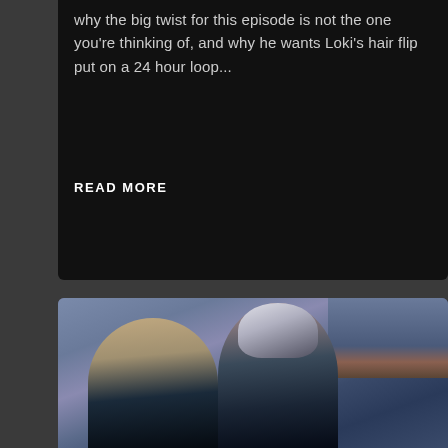why the big twist for this episode is not the one you're thinking of, and why he wants Loki's hair flip put on a 24 hour loop...
READ MORE
[Figure (photo): Two figures in sci-fi costumes — a woman in the foreground looking sideways and a man behind her wearing a dark helmet, set against an outdoor backdrop with buildings and foliage in a blue-purple tonal palette.]